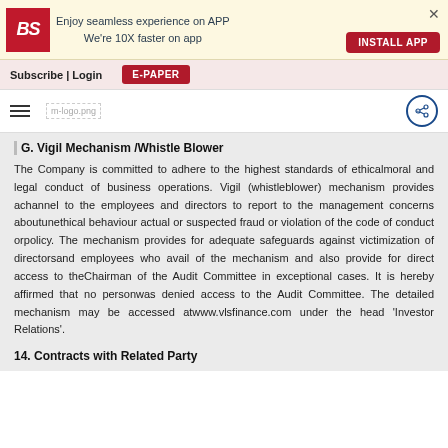[Figure (logo): Business Standard app install banner with BS logo, 'Enjoy seamless experience on APP We're 10X faster on app' text, INSTALL APP button, and X close button]
Subscribe | Login   E-PAPER
[Figure (logo): Hamburger menu icon, m-logo.png placeholder, and share icon on right]
G. Vigil Mechanism /Whistle Blower
The Company is committed to adhere to the highest standards of ethicalmoral and legal conduct of business operations. Vigil (whistleblower) mechanism provides achannel to the employees and directors to report to the management concerns aboutunethical behaviour actual or suspected fraud or violation of the code of conduct orpolicy. The mechanism provides for adequate safeguards against victimization of directorsand employees who avail of the mechanism and also provide for direct access to theChairman of the Audit Committee in exceptional cases. It is hereby affirmed that no personwas denied access to the Audit Committee. The detailed mechanism may be accessed atwww.vlsfinance.com under the head 'Investor Relations'.
14. Contracts with Related Party